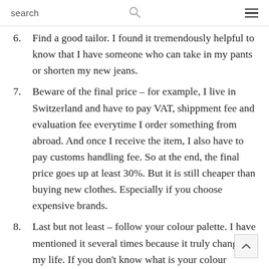search
6. Find a good tailor. I found it tremendously helpful to know that I have someone who can take in my pants or shorten my new jeans.
7. Beware of the final price – for example, I live in Switzerland and have to pay VAT, shippment fee and evaluation fee everytime I order something from abroad. And once I receive the item, I also have to pay customs handling fee. So at the end, the final price goes up at least 30%. But it is still cheaper than buying new clothes. Especially if you choose expensive brands.
8. Last but not least – follow your colour palette. I have mentioned it several times because it truly changed my life. If you don't know what is your colour palette, check out this article or this video